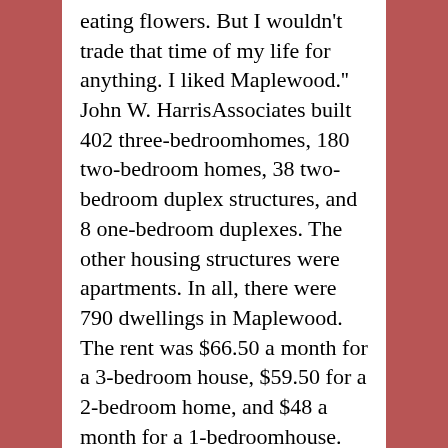eating flowers. But I wouldn't trade that time of my life for anything. I liked Maplewood." John W. HarrisAssociates built 402 three-bedroomhomes, 180 two-bedroom homes, 38 two-bedroom duplex structures, and 8 one-bedroom duplexes. The other housing structures were apartments. In all, there were 790 dwellings in Maplewood. The rent was $66.50 a month for a 3-bedroom house, $59.50 for a 2-bedroom home, and $48 a month for a 1-bedroomhouse. The first winter of construction in Maplewood totally frustrated the builders, most of whom were from New York and had never dealt with building houses in six inches of mud while swatting mosquitoes and keeping mules atarm's length.Even the Louisiana cows continuously crossed over the cattle guards the NewYork engineers built. Mr. and Mrs. Charles Banzhof were the first residents of